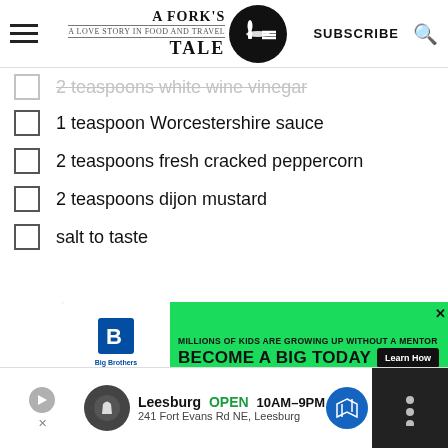A Fork's Tale — SUBSCRIBE
2 teaspoons white wine vinegar
1 teaspoon Worcestershire sauce
2 teaspoons fresh cracked peppercorn
2 teaspoons dijon mustard
salt to taste
[Figure (screenshot): Big Brothers Big Sisters advertisement banner: MILLIONS OF KIDS ARE GROWING UP WITHOUT A MENTOR. BECOME A BIG TODAY. Learn How button.]
Leesburg OPEN 10AM–9PM 241 Fort Evans Rd NE, Leesburg